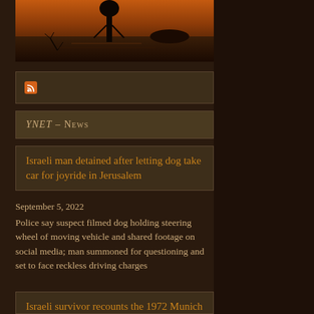[Figure (photo): Silhouette of a figure standing near water at sunset/dusk with orange and dark sky]
[Figure (logo): RSS feed icon (orange square with white RSS symbol)]
YNET – News
Israeli man detained after letting dog take car for joyride in Jerusalem
September 5, 2022
Police say suspect filmed dog holding steering wheel of moving vehicle and shared footage on social media; man summoned for questioning and set to face reckless driving charges
Israeli survivor recounts the 1972 Munich Olympics massacre